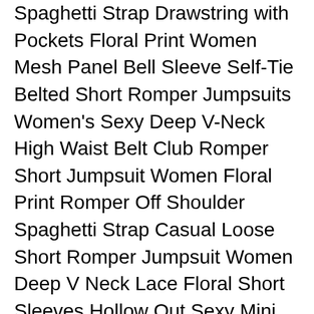Spaghetti Strap Drawstring with Pockets Floral Print Women Mesh Panel Bell Sleeve Self-Tie Belted Short Romper Jumpsuits Women's Sexy Deep V-Neck High Waist Belt Club Romper Short Jumpsuit Women Floral Print Romper Off Shoulder Spaghetti Strap Casual Loose Short Romper Jumpsuit Women Deep V Neck Lace Floral Short Sleeves Hollow Out Sexy Mini Party Romper Womens Sexy Strap Sleeveless Bohemian Playsuits Summer Backless Jumpsuit Romper Shorts Rompers for Women,Strapless Off The Shoulder Long Sleeve Short Jumpsuits with Belt Women's Sexy Bodycon Romper Spaghetti Strap Short Pants One Piece Jumpsuits Clubwer Women's Summer Solid Jumpsuit Casual Loose Short Sleeve Jumpsuit Rompers with Pockets Elastic Waist Playsuit Women's Summer Tank Jumpsuit Casual Loose Sleeveless Beam Foot